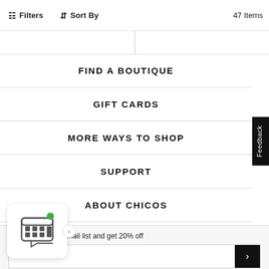Filters   Sort By   47 Items
FIND A BOUTIQUE
GIFT CARDS
MORE WAYS TO SHOP
SUPPORT
ABOUT CHICOS
Subscribe to our email list and get 20% off
Email Address
I would like to receive communications from Chico's, and I agree to the Terms of Use and Privacy Policy